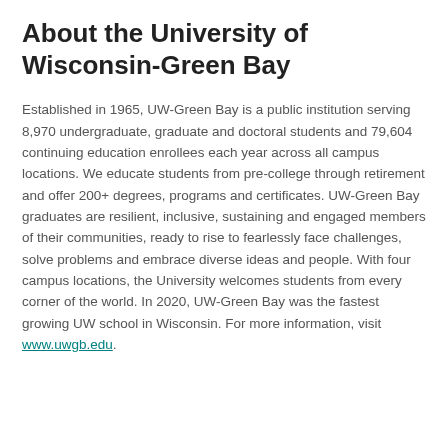About the University of Wisconsin-Green Bay
Established in 1965, UW-Green Bay is a public institution serving 8,970 undergraduate, graduate and doctoral students and 79,604 continuing education enrollees each year across all campus locations. We educate students from pre-college through retirement and offer 200+ degrees, programs and certificates. UW-Green Bay graduates are resilient, inclusive, sustaining and engaged members of their communities, ready to rise to fearlessly face challenges, solve problems and embrace diverse ideas and people. With four campus locations, the University welcomes students from every corner of the world. In 2020, UW-Green Bay was the fastest growing UW school in Wisconsin. For more information, visit www.uwgb.edu.